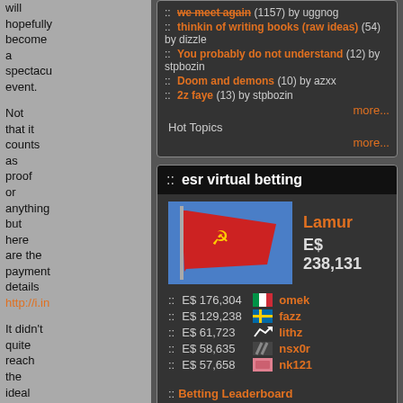will hopefully become a spectacular event.

Not that it counts as proof or anything but here are the payment details http://i.in

It didn't quite reach the ideal but I still stood for the
:: we meet again (1157) by uggnog
:: thinkin of writing books (raw ideas) (54) by dizzle
:: You probably do not understand (12) by stpbozin
:: Doom and demons (10) by azxx
:: 2z faye (13) by stpbozin
more...
Hot Topics
more...
:: esr virtual betting
Lamur
E$ 238,131
:: E$ 176,304 [IT flag] omek
:: E$ 129,238 [SE flag] fazz
:: E$ 61,723 [lithz flag] lithz
:: E$ 58,635 [slash flag] nsx0r
:: E$ 57,658 [pink flag] nk121
:: Betting Leaderboard
:: Open Betting Fixtures